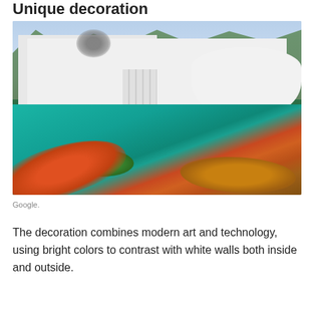Unique decoration
[Figure (photo): Exterior photograph of a modern white curved building with large colorful mural painted on the ground/pool area featuring koi fish, teal water, and green lily pads. Trees visible in background.]
Google.
The decoration combines modern art and technology, using bright colors to contrast with white walls both inside and outside.